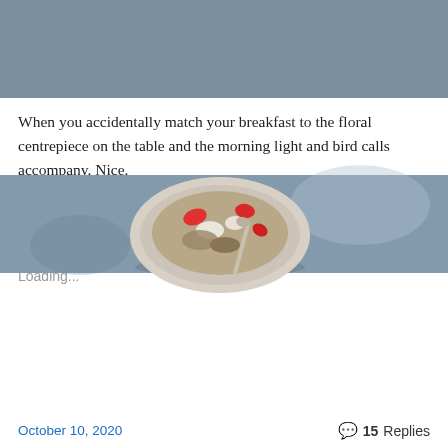[Figure (photo): Overhead photo of a bowl of food (breakfast bowl with red fruit/strawberries and toppings) on a blue-grey surface, partially cropped at top of page]
When you accidentally match your breakfast to the floral centrepiece on the table and the morning light and bird calls accompany. Nice.
Share this:
Twitter  Tumblr  Pinterest
Loading...
October 10, 2020    15 Replies